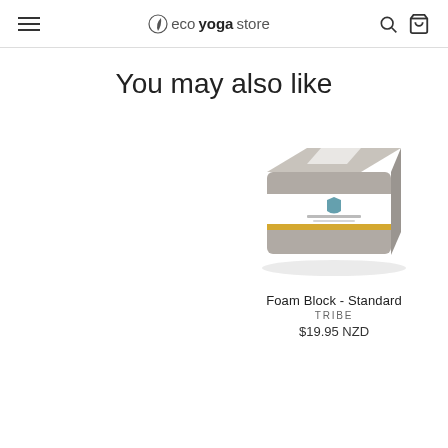ecoyogastore
You may also like
[Figure (photo): Gray foam yoga block product with a white label band showing the Tribe logo and branding]
Foam Block - Standard
TRIBE
$19.95 NZD